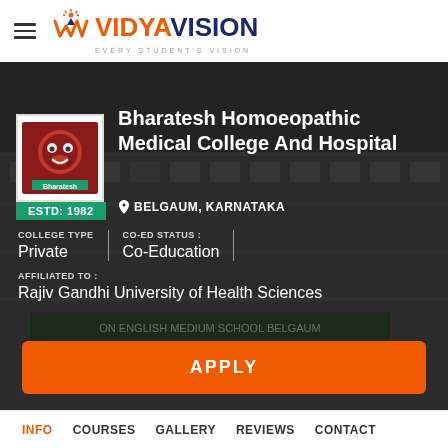VidyaVision — Every Student's Vision
[Figure (photo): Bharatesh Homoeopathic Medical College And Hospital building exterior photo with dark overlay, showing the college logo, ESTD: 1982 badge, college name, location Belgaum Karnataka, college type Private, Co-Ed Status Co-Education, Affiliated to Rajiv Gandhi University of Health Sciences, and an APPLY button]
Bharatesh Homoeopathic Medical College And Hospital
BELGAUM, KARNATAKA
COLLEGE TYPE: Private
CO-ED STATUS: Co-Education
AFFILIATED TO: Rajiv Gandhi University of Health Sciences
INFO   COURSES   GALLERY   REVIEWS   CONTACT